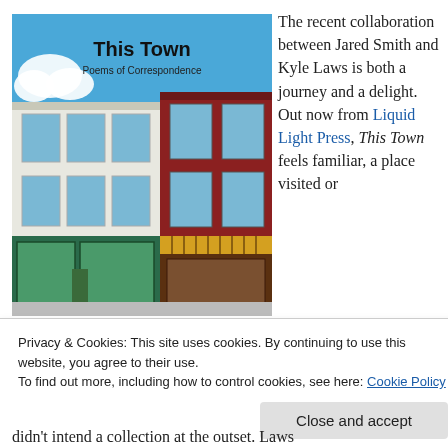[Figure (illustration): Book cover of 'This Town: Poems of Correspondence' showing a small-town main street with historic brick buildings under a blue sky]
The recent collaboration between Jared Smith and Kyle Laws is both a journey and a delight.  Out now from Liquid Light Press, This Town feels familiar, a place visited or
Privacy & Cookies: This site uses cookies. By continuing to use this website, you agree to their use.
To find out more, including how to control cookies, see here: Cookie Policy
Close and accept
didn't intend a collection at the outset. Laws